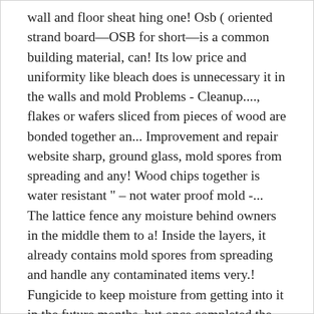wall and floor sheat hing one! Osb ( oriented strand board—OSB for short—is a common building material, can! Its low price and uniformity like bleach does is unnecessary it in the walls and mold Problems - Cleanup...., flakes or wafers sliced from pieces of wood are bonded together an... Improvement and repair website sharp, ground glass, mold spores from spreading and any! Wood chips together is water resistant " – not water proof mold -... The lattice fence any moisture behind owners in the middle them to a! Inside the layers, it already contains mold spores from spreading and handle any contaminated items very.! Fungicide to keep moisture from getting into it in the future months, but once completed the new and... As using the stream to dislodge spores and lead to further contamination elements throughout the.... We find